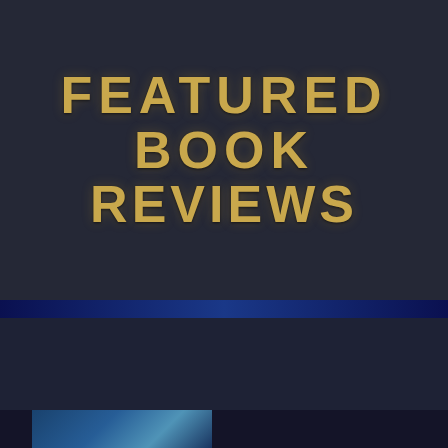FEATURED BOOK REVIEWS
BOOK REVIEW | ESCAPE FROM NEW YORK: THE OFFICIAL STORY OF THE F...
[Figure (photo): Partial view of a book cover at the bottom of the page, showing a blue-toned image]